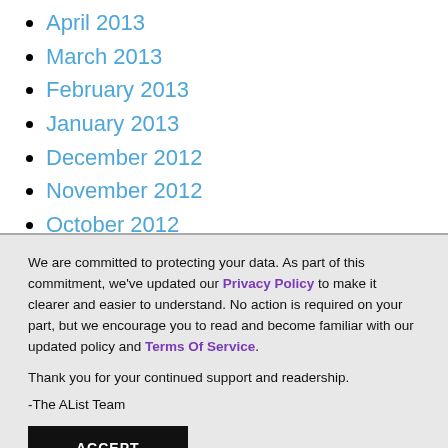April 2013
March 2013
February 2013
January 2013
December 2012
November 2012
October 2012
September 2012
We are committed to protecting your data. As part of this commitment, we've updated our Privacy Policy to make it clearer and easier to understand. No action is required on your part, but we encourage you to read and become familiar with our updated policy and Terms Of Service.
Thank you for your continued support and readership.
-The AList Team